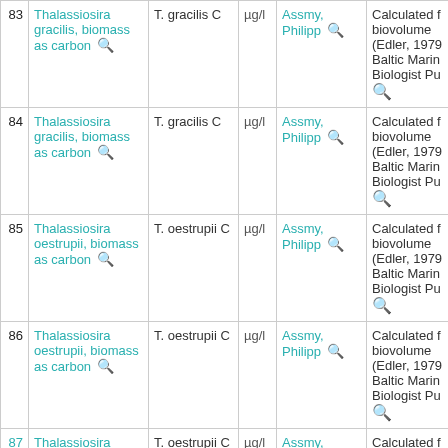| # | Parameter | Abbreviation | Unit | Principal Investigator | Method |
| --- | --- | --- | --- | --- | --- |
| 83 | Thalassiosira gracilis, biomass as carbon | T. gracilis C | µg/l | Assmy, Philipp | Calculated f biovolume (Edler, 1979 Baltic Marine Biologist Pu |
| 84 | Thalassiosira gracilis, biomass as carbon | T. gracilis C | µg/l | Assmy, Philipp | Calculated f biovolume (Edler, 1979 Baltic Marine Biologist Pu |
| 85 | Thalassiosira oestrupii, biomass as carbon | T. oestrupii C | µg/l | Assmy, Philipp | Calculated f biovolume (Edler, 1979 Baltic Marine Biologist Pu |
| 86 | Thalassiosira oestrupii, biomass as carbon | T. oestrupii C | µg/l | Assmy, Philipp | Calculated f biovolume (Edler, 1979 Baltic Marine Biologist Pu |
| 87 | Thalassiosira... | T. oestrupii C | µg/l | Assmy... | Calculated f... |